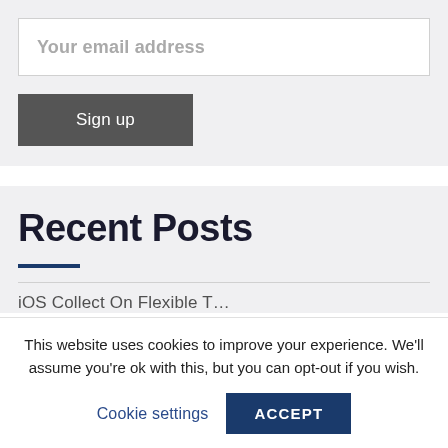Your email address
Sign up
Recent Posts
This website uses cookies to improve your experience. We'll assume you're ok with this, but you can opt-out if you wish.
Cookie settings
ACCEPT